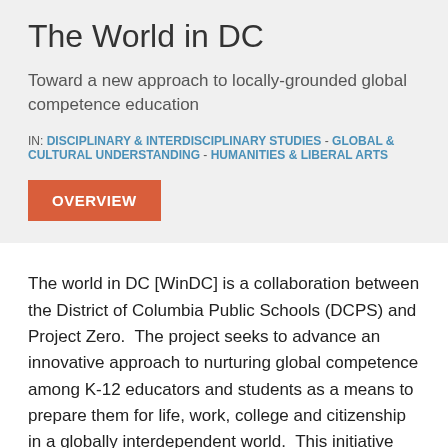The World in DC
Toward a new approach to locally-grounded global competence education
IN: DISCIPLINARY & INTERDISCIPLINARY STUDIES - GLOBAL & CULTURAL UNDERSTANDING - HUMANITIES & LIBERAL ARTS
OVERVIEW
The world in DC [WinDC] is a collaboration between the District of Columbia Public Schools (DCPS) and Project Zero.  The project seeks to advance an innovative approach to nurturing global competence among K-12 educators and students as a means to prepare them for life, work, college and citizenship in a globally interdependent world.  This initiative takes the local cultural capital of the city–i.e.  its